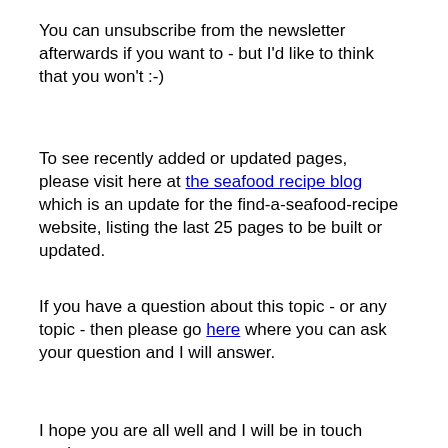You can unsubscribe from the newsletter afterwards if you want to - but I'd like to think that you won't :-)
To see recently added or updated pages, please visit here at the seafood recipe blog which is an update for the find-a-seafood-recipe website, listing the last 25 pages to be built or updated.
If you have a question about this topic - or any topic - then please go here where you can ask your question and I will answer.
I hope you are all well and I will be in touch again soon.
All the best
Regards